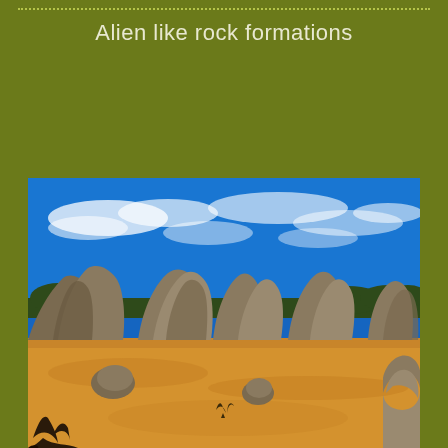Alien like rock formations
[Figure (photo): Photograph of alien-like limestone rock formations (The Pinnacles) rising from orange sandy desert floor under a vivid blue sky with wispy clouds. Multiple tall weathered rock pillars stand in the middle ground, with sparse desert shrubs and small rocks scattered on the sandy ground in the foreground.]